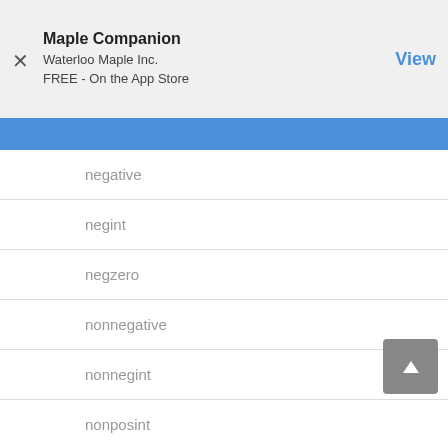[Figure (screenshot): App store banner for Maple Companion by Waterloo Maple Inc., FREE on the App Store, with a View button]
negative
negint
negzero
nonnegative
nonnegint
nonposint
nonpositive
nonreal
numeric